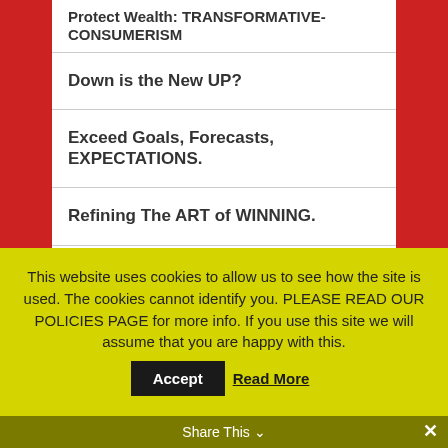Protect Wealth: TRANSFORMATIVE-CONSUMERISM
Down is the New UP?
Exceed Goals, Forecasts, EXPECTATIONS.
Refining The ART of WINNING.
CONFLICT: How To WIN.
Turn Obstacles Into Breakthroughs!
SUCCESS POWER: Walk in THEIR Shoes.
This website uses cookies to allow us to see how the site is used. The cookies cannot identify you. PLEASE READ OUR POLICIES PAGE for more info. If you use this site we will assume that you are happy with this.
Share This